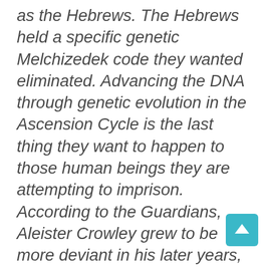as the Hebrews. The Hebrews held a specific genetic Melchizedek code they wanted eliminated. Advancing the DNA through genetic evolution in the Ascension Cycle is the last thing they want to happen to those human beings they are attempting to imprison. According to the Guardians, Aleister Crowley grew to be more deviant in his later years, as he got increasingly desperate, as a child murderer who experimented with SRA rituals, therefore he sodomized and sacrificed children and animals in his quest for immortality and gaining power over others. Crowley was exploited as a sex and drug addict that